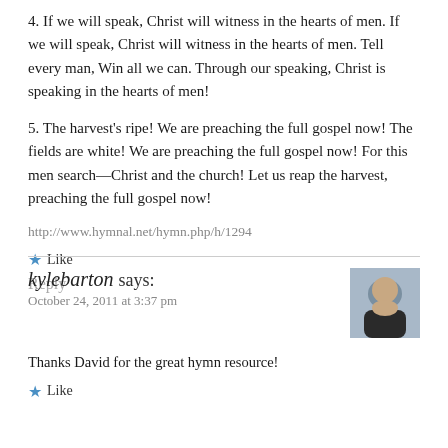4. If we will speak, Christ will witness in the hearts of men. If we will speak, Christ will witness in the hearts of men. Tell every man, Win all we can. Through our speaking, Christ is speaking in the hearts of men!
5. The harvest’s ripe! We are preaching the full gospel now! The fields are white! We are preaching the full gospel now! For this men search—Christ and the church! Let us reap the harvest, preaching the full gospel now!
http://www.hymnal.net/hymn.php/h/1294
Like
Reply
kylebarton says:
October 24, 2011 at 3:37 pm
Thanks David for the great hymn resource!
Like